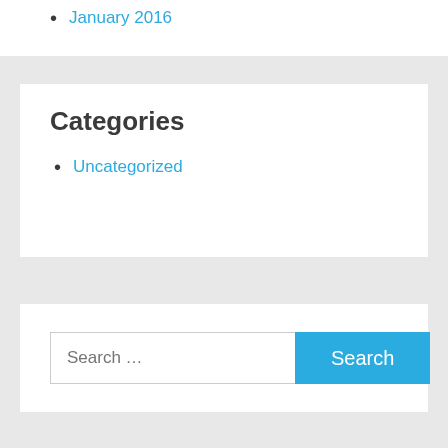January 2016
Categories
Uncategorized
Search ...
Search